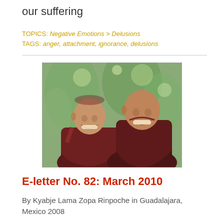our suffering
TOPICS: Negative Emotions > Delusions
TAGS: anger, attachment, ignorance, delusions
[Figure (photo): Two smiling Buddhist monks in dark red robes standing outdoors among trees]
E-letter No. 82: March 2010
By Kyabje Lama Zopa Rinpoche in Guadalajara, Mexico 2008